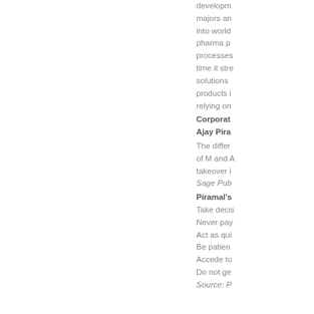development majors and into world pharma processes time it strengthens solutions products relying on
Corporate
Ajay Pira...
The difference of M and A takeover
Sage Publications
Piramal's
Take decisions
Never pay
Act as quickly
Be patient
Accede to
Do not get
Source: P